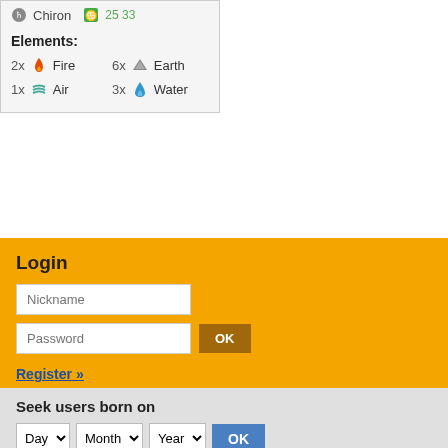Chiron  25 33
Elements:
2x Fire
6x Earth
1x Air
3x Water
Login
Nickname (input field)
Password (input field)
Register »
Seek users born on
Day Month Year OK